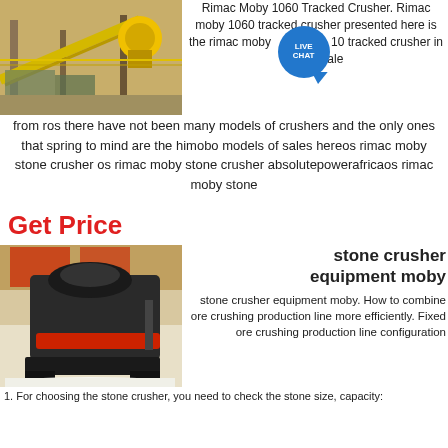[Figure (photo): Industrial stone crusher machine with yellow components and conveyor belt at a quarry or factory site]
Rimac Moby 1060 Tracked Crusher. Rimac moby 1060 tracked crusher presented here is the rimac moby 1060 tracked crusher in 1:50 scale from ros there have not been many models of crushers and the only ones that spring to mind are the himobo models of sales hereos rimac moby stone crusher os rimac moby stone crusher absolutepowerafricaos rimac moby stone
Get Price
[Figure (photo): Large black stone crusher industrial machine on a factory floor with white crushed stone material visible]
stone crusher equipment moby
stone crusher equipment moby. How to combine ore crushing production line more efficiently. Fixed ore crushing production line configuration
1. For choosing the stone crusher, you need to check the stone size, capacity: